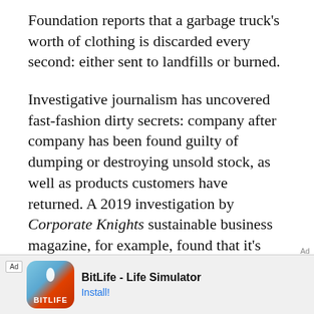Foundation reports that a garbage truck's worth of clothing is discarded every second: either sent to landfills or burned.
Investigative journalism has uncovered fast-fashion dirty secrets: company after company has been found guilty of dumping or destroying unsold stock, as well as products customers have returned. A 2019 investigation by Corporate Knights sustainable business magazine, for example, found that it's cheaper for businesses to toss returns rather than check to see if they can be resold.
What about clothing that's donated? Although it
[Figure (other): Advertisement banner for BitLife - Life Simulator app with Ad label, app icon, title and Install button]